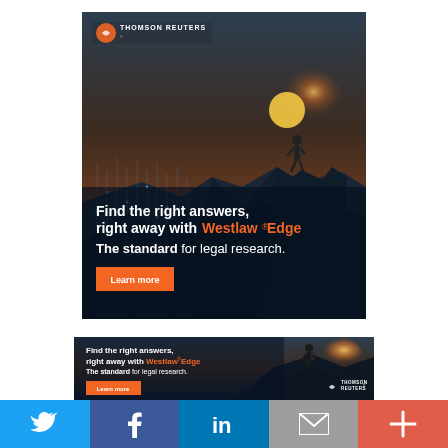[Figure (illustration): Thomson Reuters Westlaw Edge advertisement (large). Dark blue background with silhouette of person standing on mountain peak with sunset and glowing data streams. Thomson Reuters orange logo top left. Text: 'Find the right answers, right away with Westlaw® Edge. The standard for legal research.' Orange 'Learn more' button.]
[Figure (illustration): Thomson Reuters Westlaw Edge advertisement (small banner). Same dark background with person silhouette on right side. Text: 'Find the right answers, right away with Westlaw® Edge. The standard for legal research.' Orange 'Learn more' button. Thomson Reuters logo bottom right.]
[Figure (infographic): Social sharing bar with five colored buttons: Twitter (blue), Facebook (dark blue), LinkedIn (medium blue), Email (gray), More/Plus (red-orange).]